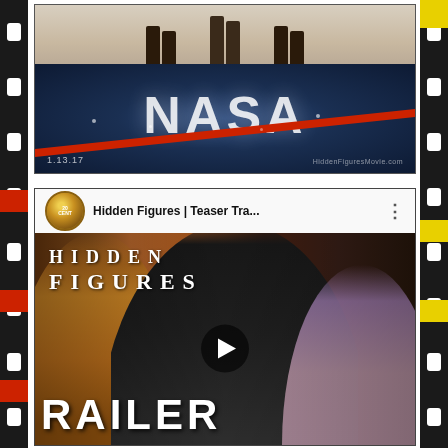[Figure (photo): Hidden Figures movie poster showing three women's legs standing on the NASA logo floor, with text '1.13.17' and 'HiddenFiguresMovie.com']
[Figure (screenshot): YouTube video thumbnail for 'Hidden Figures | Teaser Tra...' showing three actresses from the film with the text 'HIDDEN FIGURES' and 'RAILER' (TRAILER) overlay, with a play button in the center. 20th Century Fox avatar shown.]